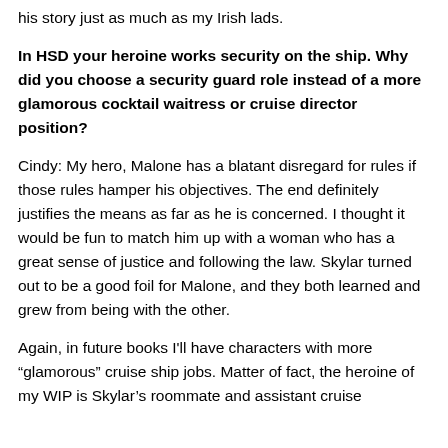his story just as much as my Irish lads.
In HSD your heroine works security on the ship. Why did you choose a security guard role instead of a more glamorous cocktail waitress or cruise director position?
Cindy: My hero, Malone has a blatant disregard for rules if those rules hamper his objectives. The end definitely justifies the means as far as he is concerned. I thought it would be fun to match him up with a woman who has a great sense of justice and following the law. Skylar turned out to be a good foil for Malone, and they both learned and grew from being with the other.
Again, in future books I'll have characters with more “glamorous” cruise ship jobs. Matter of fact, the heroine of my WIP is Skylar’s roommate and assistant cruise